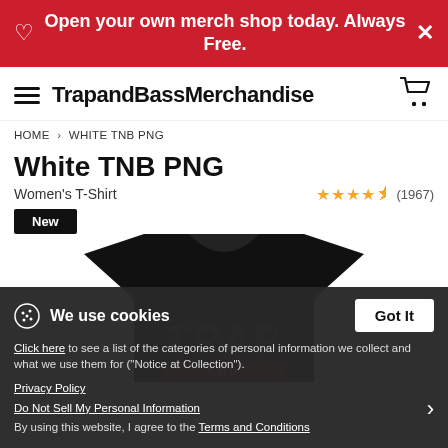Open your own merch shop today. Always Free.
TrapandBassMerchandise
HOME > WHITE TNB PNG
White TNB PNG
Women's T-Shirt
★★★★½ (1967)
New
[Figure (photo): Black women's t-shirt with TRAP AND BASS text printed on front]
We use cookies
Click here to see a list of the categories of personal information we collect and what we use them for ("Notice at Collection").
Privacy Policy
Do Not Sell My Personal Information
By using this website, I agree to the Terms and Conditions